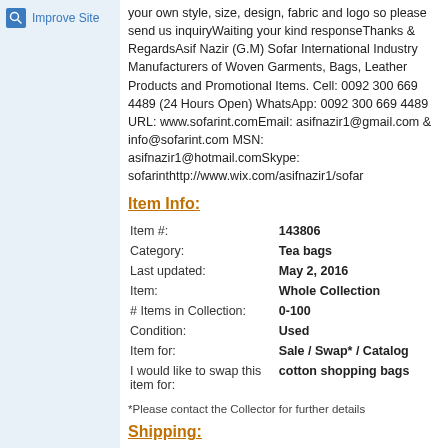[Figure (logo): Improve Site button with magnifying glass icon]
your own style, size, design, fabric and logo so please send us inquiryWaiting your kind responseThanks & RegardsAsif Nazir (G.M) Sofar International Industry Manufacturers of Woven Garments, Bags, Leather Products and Promotional Items. Cell: 0092 300 669 4489 (24 Hours Open) WhatsApp: 0092 300 669 4489 URL: www.sofarint.comEmail: asifnazir1@gmail.com & info@sofarint.com MSN: asifnazir1@hotmail.comSkype: sofarinthttp://www.wix.com/asifnazir1/sofar
Item Info:
| Item #: | 143806 |
| Category: | Tea bags |
| Last updated: | May 2, 2016 |
| Item: | Whole Collection |
| # Items in Collection: | 0-100 |
| Condition: | Used |
| Item for: | Sale / Swap* / Catalog |
| I would like to swap this item for: | cotton shopping bags |
*Please contact the Collector for further details
Shipping: